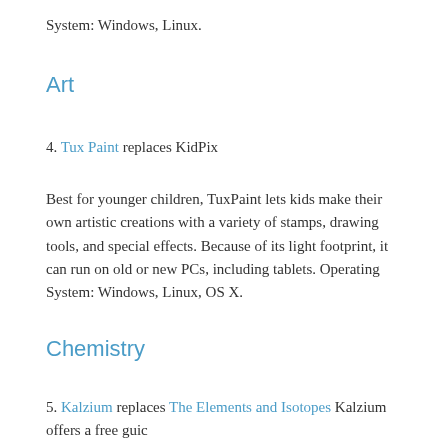System: Windows, Linux.
Art
4. Tux Paint replaces KidPix
Best for younger children, TuxPaint lets kids make their own artistic creations with a variety of stamps, drawing tools, and special effects. Because of its light footprint, it can run on old or new PCs, including tablets. Operating System: Windows, Linux, OS X.
Chemistry
5. Kalzium replaces The Elements and Isotopes Kalzium offers a free guide to energy information helpful